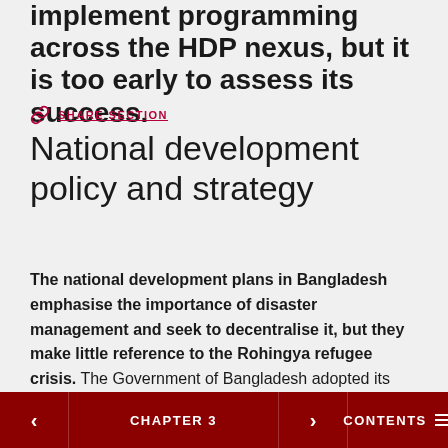implement programming across the HDP nexus, but it is too early to assess its success.
🔗 SHARE SECTION
National development policy and strategy
The national development plans in Bangladesh emphasise the importance of disaster management and seek to decentralise it, but they make little reference to the Rohingya refugee crisis. The Government of Bangladesh adopted its first five-year development plan in 1977 and is currently implementing its se...
< CHAPTER 3 > CONTENTS